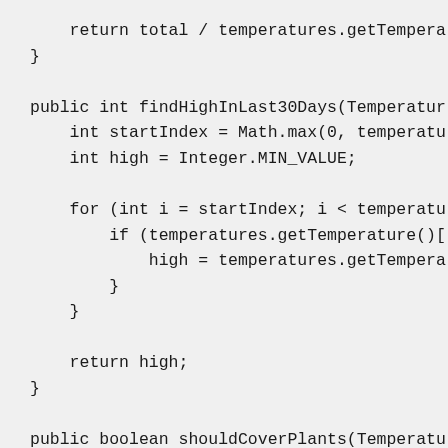return total / temperatures.getTempe
}

public int findHighInLast30Days(Temperatur
    int startIndex = Math.max(0, temperatu
    int high = Integer.MIN_VALUE;

    for (int i = startIndex; i < temperatu
        if (temperatures.getTemperature()[
            high = temperatures.getTempera
        }
    }

    return high;
}

public boolean shouldCoverPlants(Temperatu
    int startIndex = Math.max(0, temperatu